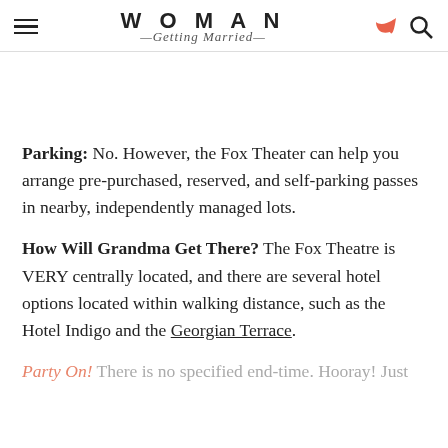WOMAN Getting Married
Parking: No. However, the Fox Theater can help you arrange pre-purchased, reserved, and self-parking passes in nearby, independently managed lots.
How Will Grandma Get There? The Fox Theatre is VERY centrally located, and there are several hotel options located within walking distance, such as the Hotel Indigo and the Georgian Terrace.
Party On! There is no specified end-time. Hooray! Just